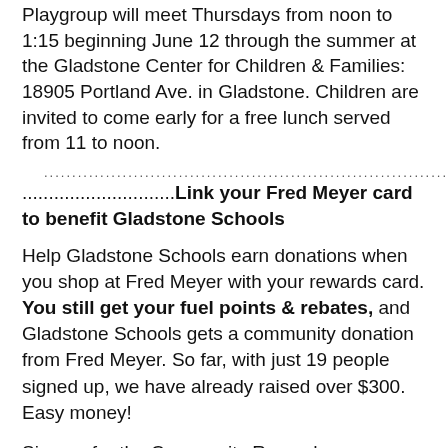Playgroup will meet Thursdays from noon to 1:15 beginning June 12 through the summer at the Gladstone Center for Children & Families: 18905 Portland Ave. in Gladstone. Children are invited to come early for a free lunch served from 11 to noon.
Link your Fred Meyer card to benefit Gladstone Schools
Help Gladstone Schools earn donations when you shop at Fred Meyer with your rewards card. You still get your fuel points & rebates, and Gladstone Schools gets a community donation from Fred Meyer. So far, with just 19 people signed up, we have already raised over $300. Easy money!
Sign up for the Community Rewards program by linking your Fred Meyer rewards card to Gladstone Schools at www.fredmeyer.com/communityrewards. Be sure to